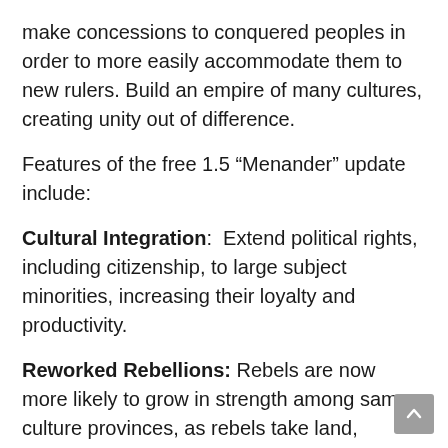make concessions to conquered peoples in order to more easily accommodate them to new rulers. Build an empire of many cultures, creating unity out of difference.
Features of the free 1.5 “Menander” update include:
Cultural Integration:  Extend political rights, including citizenship, to large subject minorities, increasing their loyalty and productivity.
Reworked Rebellions: Rebels are now more likely to grow in strength among same culture provinces, as rebels take land, demonstrating the viability of their cause.